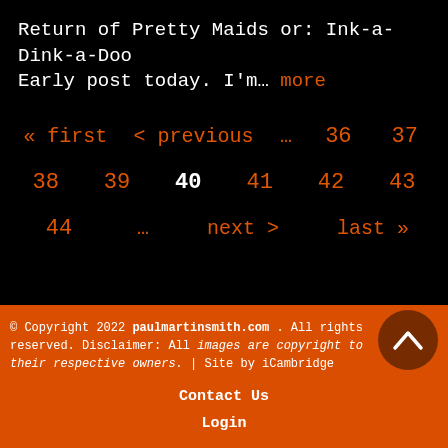Return of Pretty Maids or: Ink-a-Dink-a-Doo Early post today. I'm… more
« first  < previous  …  36  37  38  39  40  41  42  43  44  …  next >  last »
© Copyright 2022 paulmartinsmith.com . All rights reserved. Disclaimer: All images are copyright to their respective owners. | Site by iCambridge
Contact Us
Login